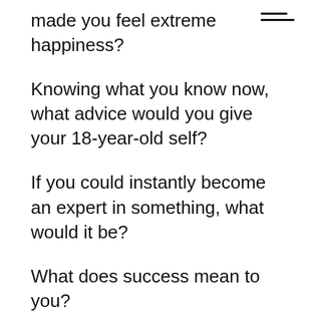made you feel extreme happiness?
[Figure (other): Hamburger menu icon with two horizontal lines]
Knowing what you know now, what advice would you give your 18-year-old self?
If you could instantly become an expert in something, what would it be?
What does success mean to you?
What's the best piece of advice